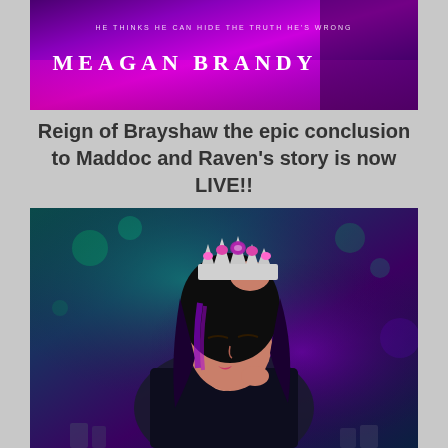[Figure (photo): Book banner/cover for Meagan Brandy with purple and dark tones, text reads 'HE THINKS HE CAN HIDE THE TRUTH HE'S WRONG' and 'MEAGAN BRANDY']
Reign of Brayshaw the epic conclusion to Maddoc and Raven's story is now LIVE!!
[Figure (photo): Book cover photo of a woman with dark hair and purple highlights holding a jeweled crown above her head, wearing a leather jacket, against a dark teal/purple artistic background with bokeh effects]